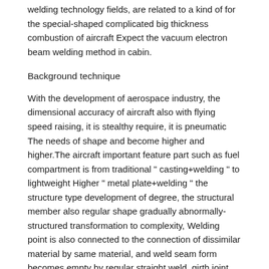welding technology fields, are related to a kind of for the special-shaped complicated big thickness combustion of aircraft Expect the vacuum electron beam welding method in cabin.
Background technique
With the development of aerospace industry, the dimensional accuracy of aircraft also with flying speed raising, it is stealthy require, it is pneumatic The needs of shape and become higher and higher.The aircraft important feature part such as fuel compartment is from traditional " casting+welding " to lightweight Higher " metal plate+welding " the structure type development of degree, the structural member also regular shape gradually abnormally-structured transformation to complexity, Welding point is also connected to the connection of dissimilar material by same material, and weld seam form becomes empty by regular straight weld, girth joint Half interval contour weld seam.By taking certain aircraft fuel cabin as an example (Fig. 1), it is made of 2 end frames, 1 casting, 2 pieces of coverings.The material of casting For ZL114A aluminium alloy, holding the material of frame and